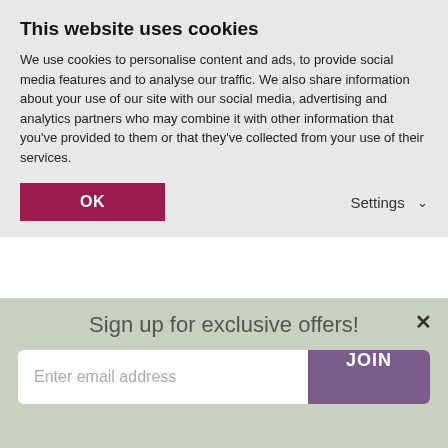This website uses cookies
We use cookies to personalise content and ads, to provide social media features and to analyse our traffic. We also share information about your use of our site with our social media, advertising and analytics partners who may combine it with other information that you've provided to them or that they've collected from your use of their services.
OK
Settings
and some soft soap after every use to prolong the life of this great garden gadget.
Compact
The compact design allows for easy storing after use, your chosen head is simple to change or attach with the wrench and
Sign up for exclusive offers!
Enter email address
JOIN